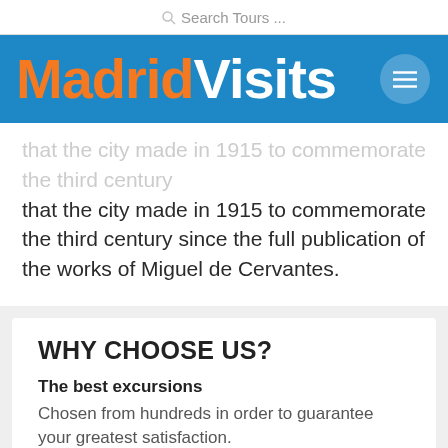Search Tours ...
[Figure (logo): MadridVisits logo on blue background with hamburger menu button]
that the city made in 1915 to commemorate the third century since the full publication of the works of Miguel de Cervantes.
WHY CHOOSE US?
The best excursions
Chosen from hundreds in order to guarantee your greatest satisfaction.